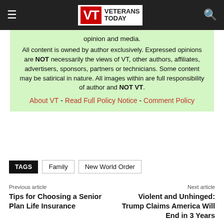Veterans Today
opinion and media.

All content is owned by author exclusively. Expressed opinions are NOT necessarily the views of VT, other authors, affiliates, advertisers, sponsors, partners or technicians. Some content may be satirical in nature. All images within are full responsibility of author and NOT VT.

About VT - Read Full Policy Notice - Comment Policy
TAGS  Family  New World Order
Previous article
Tips for Choosing a Senior Plan Life Insurance
Next article
Violent and Unhinged: Trump Claims America Will End in 3 Years